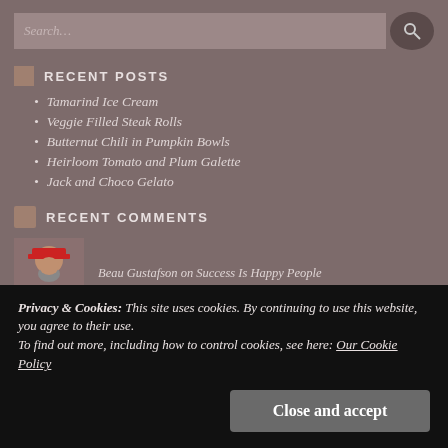RECENT POSTS
Tamarind Ice Cream
Veggie Filled Steak Rolls
Butternut Chili in Pumpkin Bowls
Heirloom Tomato and Plum Galette
Jack and Choco Gelato
RECENT COMMENTS
Beau Gustafson on Success Is Happy People
Privacy & Cookies: This site uses cookies. By continuing to use this website, you agree to their use. To find out more, including how to control cookies, see here: Our Cookie Policy
Beau Gustafson on Summer Fruit Galette